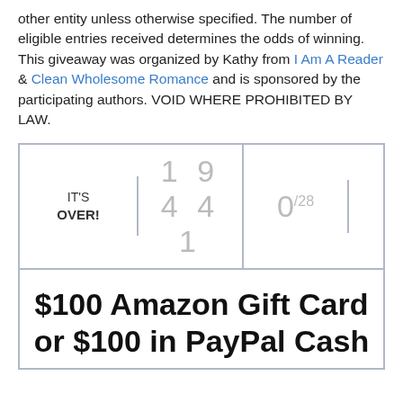other entity unless otherwise specified. The number of eligible entries received determines the odds of winning. This giveaway was organized by Kathy from I Am A Reader & Clean Wholesome Romance and is sponsored by the participating authors. VOID WHERE PROHIBITED BY LAW.
[Figure (other): Giveaway widget showing IT'S OVER! with entry count 19441 and 0/28, and prize text '$100 Amazon Gift Card or $100 in PayPal Cash']